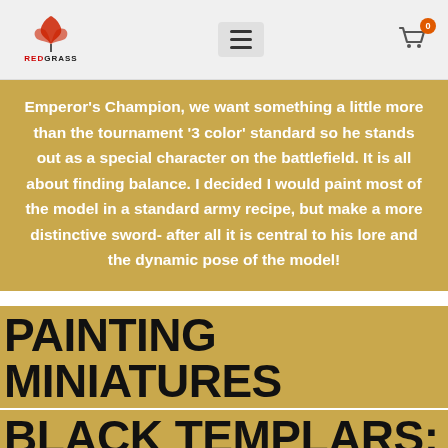REIDGRASS — navigation header with logo, hamburger menu, and shopping cart (0 items)
Emperor's Champion, we want something a little more than the tournament '3 color' standard so he stands out as a special character on the battlefield. It is all about finding balance. I decided I would paint most of the model in a standard army recipe, but make a more distinctive sword- after all it is central to his lore and the dynamic pose of the model!
PAINTING MINIATURES BLACK TEMPLARS: Base Colors